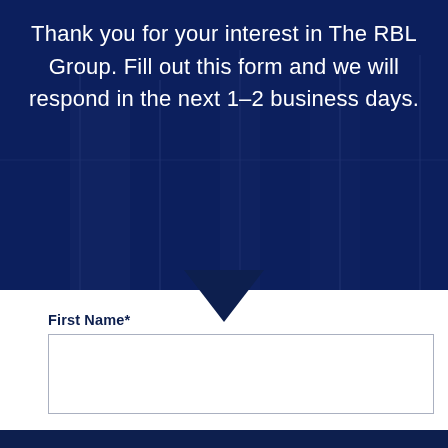Thank you for your interest in The RBL Group. Fill out this form and we will respond in the next 1–2 business days.
First Name*
Subscribe to our latest insights.
Email Address*